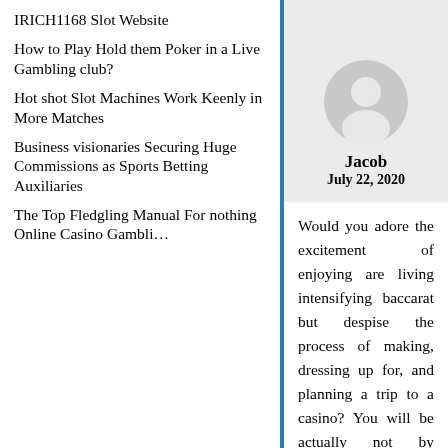IRICH1168 Slot Website
How to Play Hold them Poker in a Live Gambling club?
Hot shot Slot Machines Work Keenly in More Matches
Business visionaries Securing Huge Commissions as Sports Betting Auxiliaries
The Top Fledgling Manual For nothing Online Casino Gambling
[Figure (illustration): Gray circular avatar/profile placeholder icon on light gray background]
Jacob
July 22, 2020
Would you adore the excitement of enjoying are living intensifying baccarat but despise the process of making, dressing up for, and planning a trip to a casino? You will be actually not by yourself. The good thing is that now you may have the best of equally worlds.